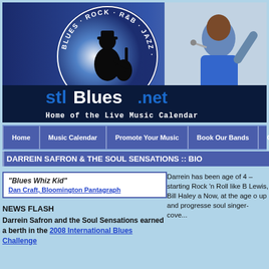[Figure (screenshot): STLBlues.net website banner with circular Blues·Rock·R&B·Jazz·Soul logo featuring guitar player silhouette, website title 'stlBlues.net', tagline 'Home of the Live Music Calendar', and photo of female singer in blue dress performing on stage]
Home | Music Calendar | Promote Your Music | Book Our Bands | Get S...
DARREIN SAFRON & THE SOUL SENSATIONS :: BIO
"Blues Whiz Kid"
Dan Craft, Bloomington Pantagraph
NEWS FLASH
Darrein Safron and the Soul Sensations earned a berth in the 2008 International Blues Challenge
Darrein has been age of 4 – starting Rock 'n Roll like B Lewis, Bill Haley a Now, at the age o up and progresse soul singer-cove...